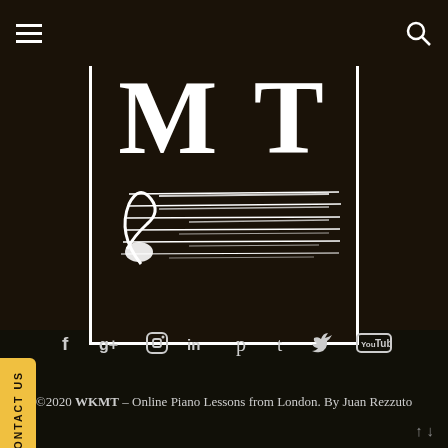[Figure (logo): WKMT logo with large MT letters and music staff lines inside a white-bordered box, with faint WK watermark letters in background]
[Figure (infographic): Social media icons row: Facebook (f), Google+ (g+), Instagram (camera), LinkedIn (in), Pinterest (p), Tumblr (t), Twitter bird, YouTube logo]
©2020 WKMT – Online Piano Lessons from London. By Juan Rezzuto
CONTACT US